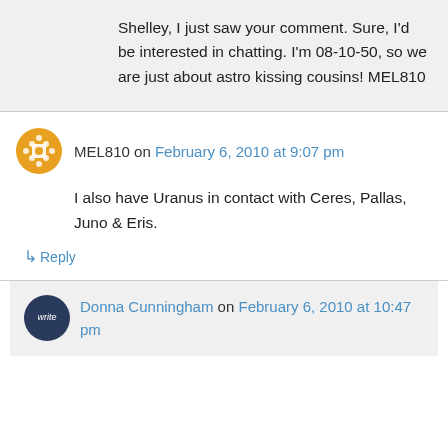Shelley, I just saw your comment. Sure, I'd be interested in chatting. I'm 08-10-50, so we are just about astro kissing cousins! MEL810
MEL810 on February 6, 2010 at 9:07 pm
I also have Uranus in contact with Ceres, Pallas, Juno & Eris.
Reply
Donna Cunningham on February 6, 2010 at 10:47 pm